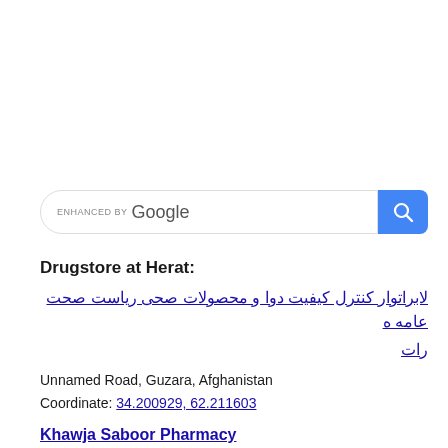[Figure (screenshot): Google custom search bar with 'ENHANCED BY Google' text and blue search button with magnifying glass icon]
Drugstore at Herat:
لابراتوار کنترل کیفیت دوا و محصولات صحی ریاست صحت عامه ه رات
Unnamed Road, Guzara, Afghanistan
Coordinate: 34.200929, 62.211603
Khawja Saboor Pharmacy
Boland Aab street, 8th distric HERAT, Herat 3001, Afghanistan